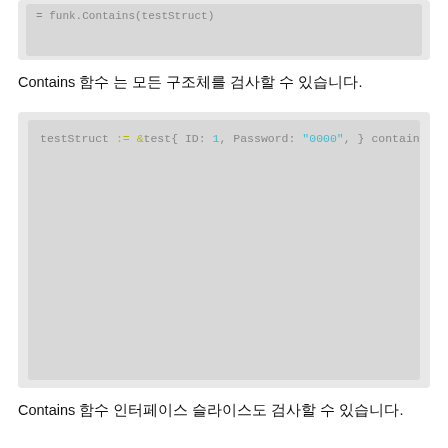[Figure (screenshot): Partial code block showing top portion (cropped), contains = funk.Contains(testStruct)]
Contains 함수 는 모든 구조체를 검사할 수 있습니다.
[Figure (screenshot): Go code block showing testStruct := &test{ ID: 1, Password: "0000", } contains = funk.Contains([]*t fmt.Println(contains) contains = funk.Contains([]*t fmt.Println(contains)]
Contains 함수 인터페이스 슬라이스도 검사할 수 있습니다.